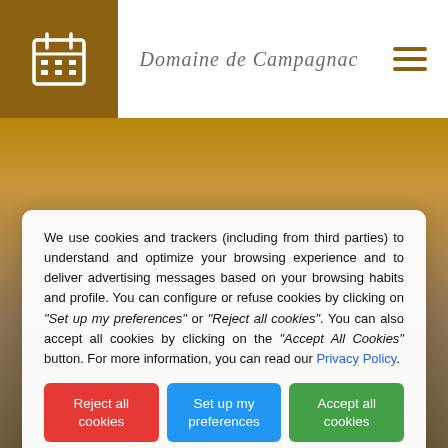Domaine de Campagnac
[Figure (screenshot): Background photo of an elegantly decorated venue interior with warm lighting and drapes]
We use cookies and trackers (including from third parties) to understand and optimize your browsing experience and to deliver advertising messages based on your browsing habits and profile. You can configure or refuse cookies by clicking on "Set up my preferences" or "Reject all cookies". You can also accept all cookies by clicking on the "Accept All Cookies" button. For more information, you can read our Privacy Policy.
Reject all cookies
Set up my preferences
Accept all cookies
moment!